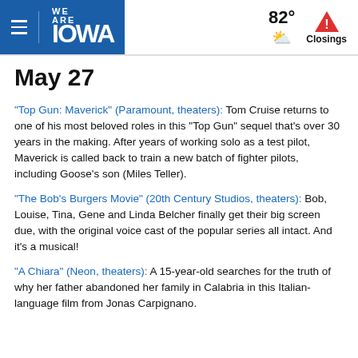WE ARE IOWA | 82° Closings
May 27
“Top Gun: Maverick” (Paramount, theaters): Tom Cruise returns to one of his most beloved roles in this “Top Gun” sequel that’s over 30 years in the making. After years of working solo as a test pilot, Maverick is called back to train a new batch of fighter pilots, including Goose’s son (Miles Teller).
“The Bob’s Burgers Movie” (20th Century Studios, theaters): Bob, Louise, Tina, Gene and Linda Belcher finally get their big screen due, with the original voice cast of the popular series all intact. And it’s a musical!
“A Chiara” (Neon, theaters): A 15-year-old searches for the truth of why her father abandoned her family in Calabria in this Italian-language film from Jonas Carpignano.